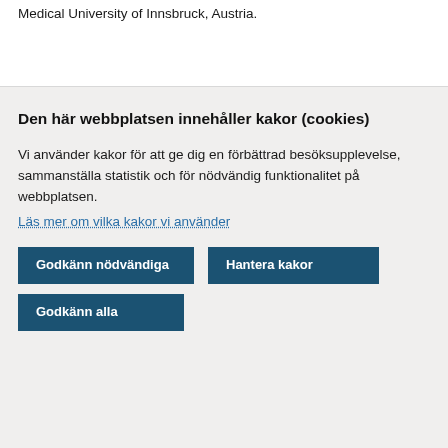Medical University of Innsbruck, Austria.
Den här webbplatsen innehåller kakor (cookies)
Vi använder kakor för att ge dig en förbättrad besöksupplevelse, sammanställa statistik och för nödvändig funktionalitet på webbplatsen.
Läs mer om vilka kakor vi använder
Godkänn nödvändiga
Hantera kakor
Godkänn alla